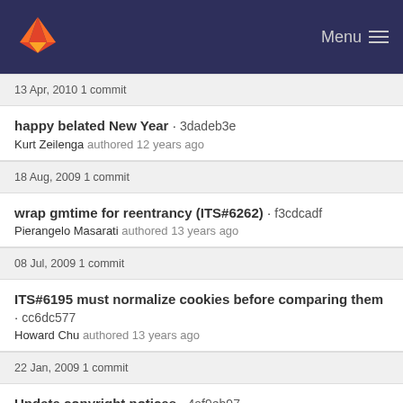Menu
13 Apr, 2010 1 commit
happy belated New Year · 3dadeb3e
Kurt Zeilenga authored 12 years ago
18 Aug, 2009 1 commit
wrap gmtime for reentrancy (ITS#6262) · f3cdcadf
Pierangelo Masarati authored 13 years ago
08 Jul, 2009 1 commit
ITS#6195 must normalize cookies before comparing them · cc6dc577
Howard Chu authored 13 years ago
22 Jan, 2009 1 commit
Update copyright notices · 4af9eb97
Kurt Zeilenga authored 13 years ago